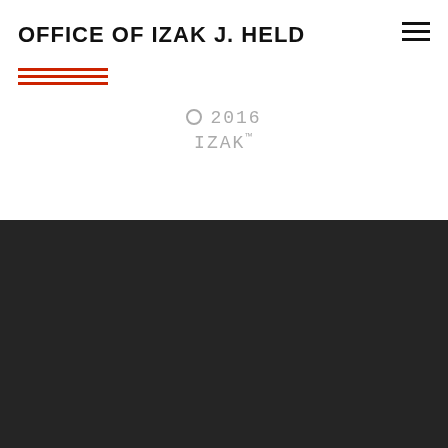OFFICE OF IZAK J. HELD
© 2016 IZAK™
About
This is the Office of Izak J. Held official website and online presence. Follow @izak everywhere.
Follow
f  ⟩  in  P  G+  ⬡